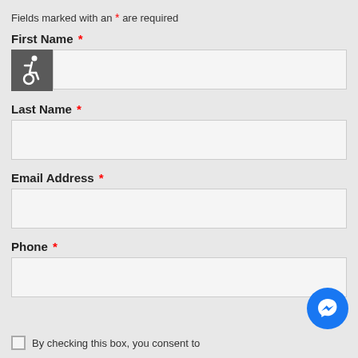Fields marked with an * are required
First Name *
[Figure (illustration): Accessibility wheelchair icon in dark grey square]
Last Name *
Email Address *
Phone *
[Figure (illustration): Facebook Messenger blue circle button icon]
By checking this box, you consent to